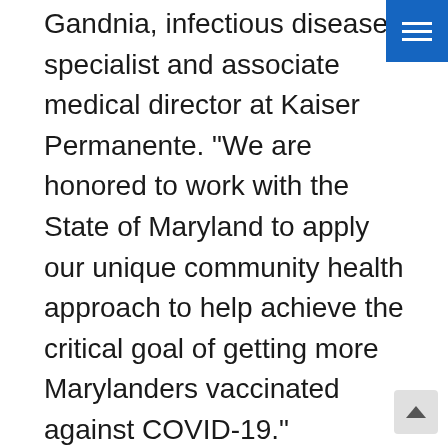Gandnia, infectious diseases specialist and associate medical director at Kaiser Permanente. “We are honored to work with the State of Maryland to apply our unique community health approach to help achieve the critical goal of getting more Marylanders vaccinated against COVID-19.”
“Ensuring that all Marylanders have access to the COVID-19 vaccine is imperative to help our state continue to move forward,” said Deputy Director of MDH’s Office of Minority Health and